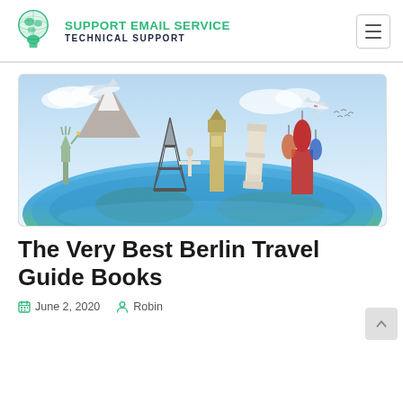SUPPORT EMAIL SERVICE TECHNICAL SUPPORT
[Figure (illustration): World landmarks collage on a globe: Statue of Liberty, Eiffel Tower, Big Ben, Leaning Tower of Pisa, St. Basil's Cathedral, Christ the Redeemer, mountains, planes in the sky]
The Very Best Berlin Travel Guide Books
June 2, 2020   Robin